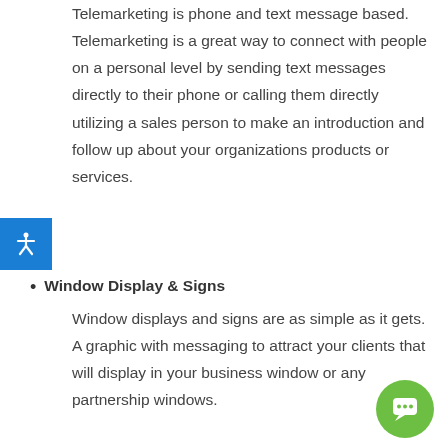Telemarketing is phone and text message based. Telemarketing is a great way to connect with people on a personal level by sending text messages directly to their phone or calling them directly utilizing a sales person to make an introduction and follow up about your organizations products or services.
Window Display & Signs
Window displays and signs are as simple as it gets. A graphic with messaging to attract your clients that will display in your business window or any partnership windows.